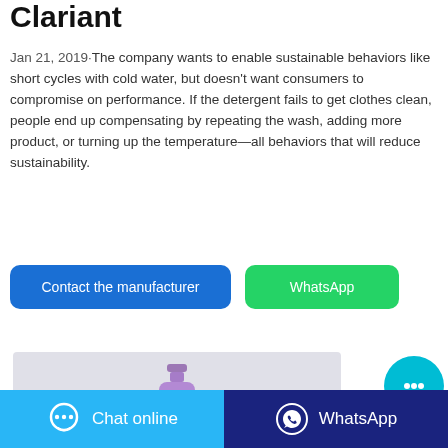Clariant
Jan 21, 2019·The company wants to enable sustainable behaviors like short cycles with cold water, but doesn't want consumers to compromise on performance. If the detergent fails to get clothes clean, people end up compensating by repeating the wash, adding more product, or turning up the temperature—all behaviors that will reduce sustainability.
[Figure (other): Two call-to-action buttons: 'Contact the manufacturer' (blue) and 'WhatsApp' (green)]
[Figure (photo): Partial product image showing a purple bottle/dispenser on a light grey background]
[Figure (other): Floating chat bubble button (cyan/teal circle with ellipsis icon)]
Chat online   WhatsApp